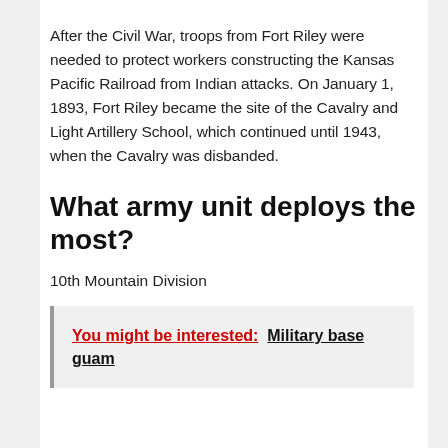After the Civil War, troops from Fort Riley were needed to protect workers constructing the Kansas Pacific Railroad from Indian attacks. On January 1, 1893, Fort Riley became the site of the Cavalry and Light Artillery School, which continued until 1943, when the Cavalry was disbanded.
What army unit deploys the most?
10th Mountain Division
You might be interested:  Military base guam